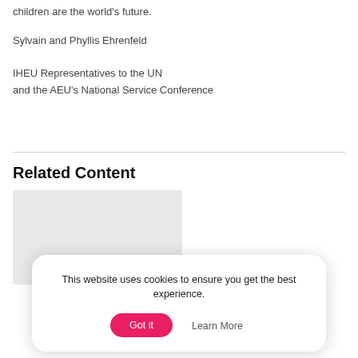children are the world's future.
Sylvain and Phyllis Ehrenfeld
IHEU Representatives to the UN
and the AEU's National Service Conference
Related Content
[Figure (photo): Gray placeholder image for related content thumbnail]
This website uses cookies to ensure you get the best experience.
Got it
Learn More